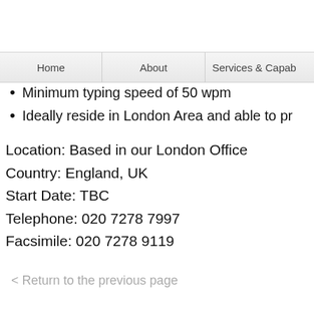Home | About | Services & Capab...
Minimum typing speed of 50 wpm
Ideally reside in London Area and able to pr...
Location: Based in our London Office
Country: England, UK
Start Date: TBC
Telephone: 020 7278 7997
Facsimile: 020 7278 9119
< Return to the previous page